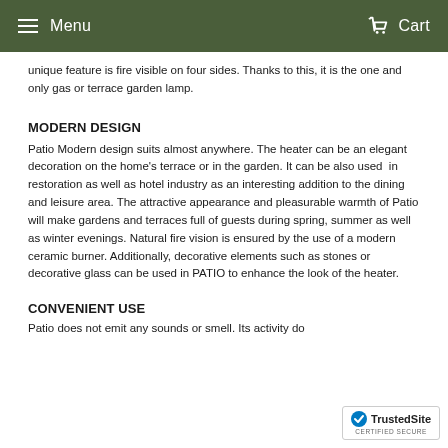Menu  Cart
unique feature is fire visible on four sides. Thanks to this, it is the one and only gas or terrace garden lamp.
MODERN DESIGN
Patio Modern design suits almost anywhere. The heater can be an elegant decoration on the home’s terrace or in the garden. It can be also used  in restoration as well as hotel industry as an interesting addition to the dining and leisure area. The attractive appearance and pleasurable warmth of Patio will make gardens and terraces full of guests during spring, summer as well as winter evenings. Natural fire vision is ensured by the use of a modern ceramic burner. Additionally, decorative elements such as stones or decorative glass can be used in PATIO to enhance the look of the heater.
CONVENIENT USE
Patio does not emit any sounds or smell. Its activity do...